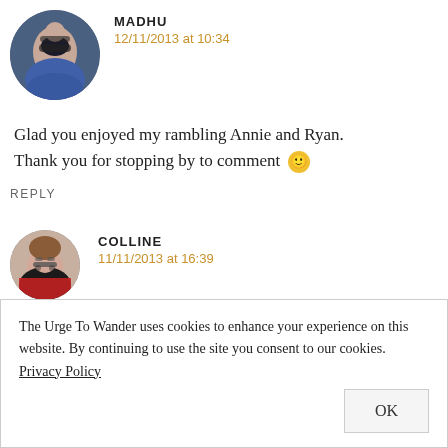[Figure (photo): Round avatar photo of Madhu, a woman with sunglasses and blue clothing, photographing with a camera]
MADHU
12/11/2013 at 10:34
Glad you enjoyed my rambling Annie and Ryan. Thank you for stopping by to comment 🙂
REPLY
[Figure (photo): Round avatar photo of Colline, a woman with glasses and red top, smiling]
COLLINE
11/11/2013 at 16:39
The Urge To Wander uses cookies to enhance your experience on this website. By continuing to use the site you consent to our cookies. Privacy Policy